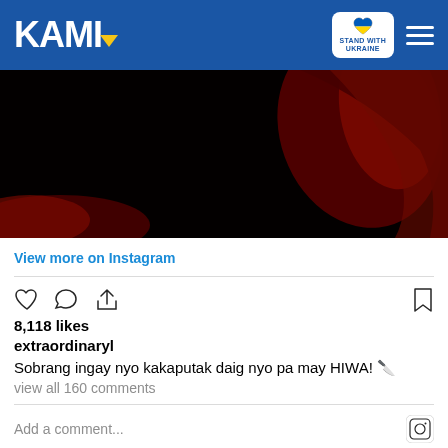KAMI — Stand With Ukraine
[Figure (photo): Dark moody photo with red/dark tones, appears to show a person or object with red coloring against a black background]
View more on Instagram
8,118 likes
extraordinaryl
Sobrang ingay nyo kakaputak daig nyo pa may HIWA! 🔪
view all 160 comments
Add a comment...